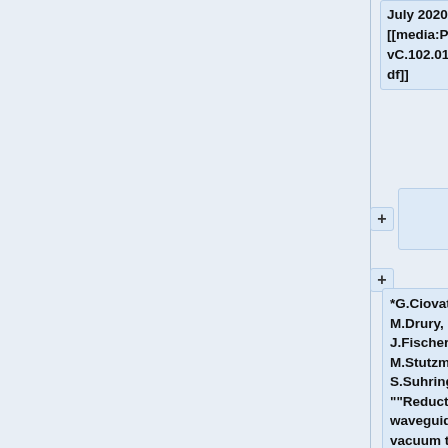July 2020 [[media:PhysRevC.102.015501.pdf]]
+
*G.Ciovati, M.Drury, J.Fischer, M.Stutzman and S.Suhring, ""Reduction of waveguide vacuum trips in CEBAF accelerating cavities with a combination ion pump and non-evaporable getter pump"" [[media:GigiNIM2020.pdf]]